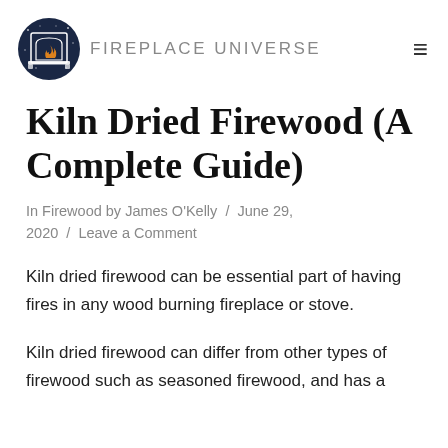FIREPLACE UNIVERSE
Kiln Dried Firewood (A Complete Guide)
In Firewood by James O'Kelly / June 29, 2020 / Leave a Comment
Kiln dried firewood can be essential part of having fires in any wood burning fireplace or stove.
Kiln dried firewood can differ from other types of firewood such as seasoned firewood, and has a